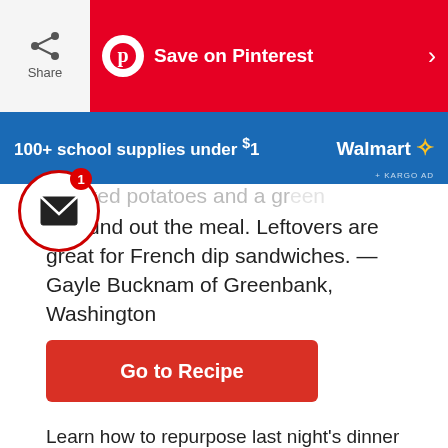[Figure (screenshot): Share button with icon on left side of top bar]
[Figure (screenshot): Pinterest Save banner in red with Pinterest logo and text 'Save on Pinterest']
[Figure (screenshot): Walmart ad banner: '100+ school supplies under $1' with Walmart logo and KARGO AD label]
[Figure (screenshot): Email notification circle with red border and badge showing '1']
to round out the meal. Leftovers are great for French dip sandwiches. &mdash; Gayle Bucknam of Greenbank, Washington
Go to Recipe
Learn how to repurpose last night's dinner into one of these amazing leftover steak recipes.
3 / 38